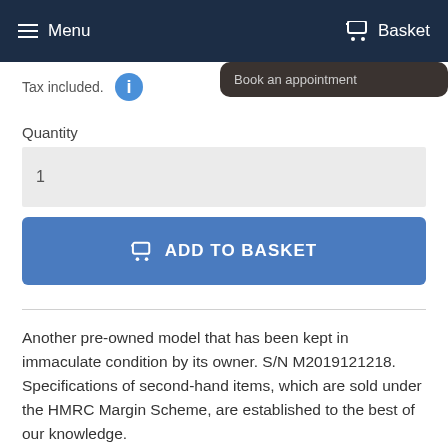Menu   Basket
Tax included.
Book an appointment
Quantity
1
ADD TO BASKET
Another pre-owned model that has been kept in immaculate condition by its owner.  S/N M2019121218.  Specifications of second-hand items, which are sold under the HMRC Margin Scheme, are established to the best of our knowledge.